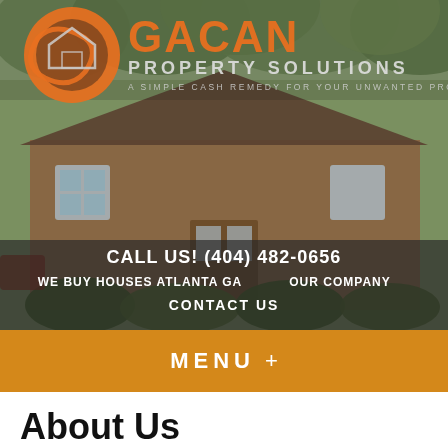[Figure (logo): Gacan Property Solutions logo with orange swoosh and house icon, orange text reading GACAN with PROPERTY SOLUTIONS below and tagline A SIMPLE CASH REMEDY FOR YOUR UNWANTED PROPERTY.]
CALL US! (404) 482-0656
WE BUY HOUSES ATLANTA GA
OUR COMPANY
CONTACT US
MENU +
About Us
We provide win-win solutions to provide help for homeowners to get out of their sticky situations… like Foreclosure, owning a burdensome property, probate, or anything else.